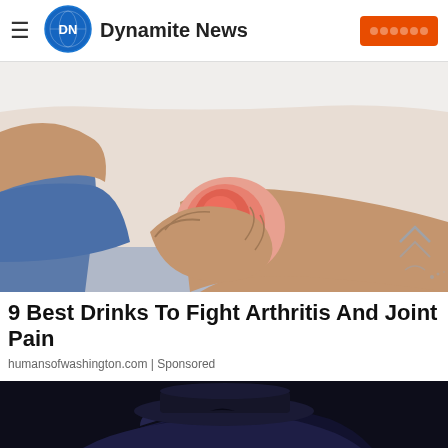Dynamite News
[Figure (photo): Person sitting and holding their knee which is highlighted in red indicating pain/arthritis, wearing shorts and a white shirt]
9 Best Drinks To Fight Arthritis And Joint Pain
humansofwashington.com | Sponsored
[Figure (photo): Person with dark blue/black wavy hair viewed from behind, dark background]